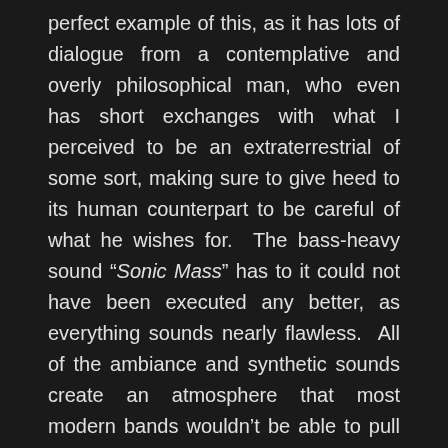perfect example of this, as it has lots of dialogue from a contemplative and overly philosophical man, who even has short exchanges with what I perceived to be an extraterrestrial of some sort, making sure to give heed to its human counterpart to be careful of what he wishes for.  The bass-heavy sound “Sonic Mass” has to it could not have been executed any better, as everything sounds nearly flawless.  All of the ambiance and synthetic sounds create an atmosphere that most modern bands wouldn’t be able to pull off if their lives depended on it.

It feels like Amebix wrote “Sonic Mass” to be one giant epic tale that is split up into two halves with